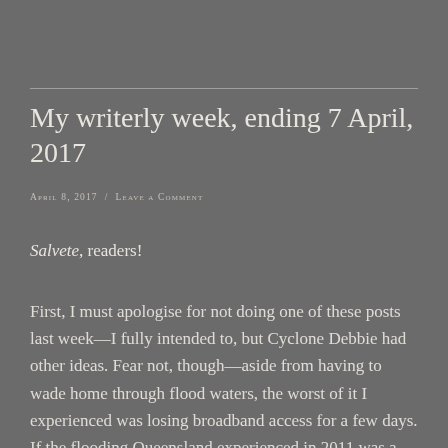My writerly week, ending 7 April, 2017
APRIL 8, 2017  /  LEAVE A COMMENT
Salvete, readers!
First, I must apologise for not doing one of these posts last week—I fully intended to, but Cyclone Debbie had other ideas. Fear not, though—aside from having to wade home through flood waters, the worst of it I experienced was losing broadband access for a few days. If the flooding Queensland experienced in 2011 was a punch to the gut, Cyclone Debbie was a slap in the face with a rubber fish.